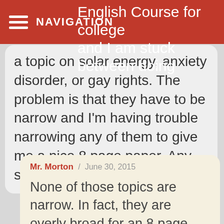NAVIGATION
English Course for college and I am stuck between doing a topic on solar energy, anxiety disorder, or gay rights. The problem is that they have to be narrow and I'm having trouble narrowing any of them to give me a nice 8 page paper. Any suggestions?
Mr. Morton / June 30, 2015

None of those topics are narrow. In fact, they are overly broad for an 8 page paper. Choose one and